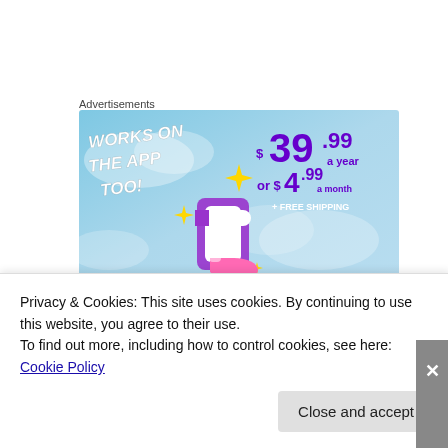Advertisements
[Figure (illustration): Tumblr+ advertisement banner on a light blue cloudy sky background. Left side shows bold italic white text 'WORKS ON THE APP TOO!' with yellow sparkle/star graphics and a stylized Tumblr 't' logo in purple, white, and pink. Right side shows pricing: $39.99 a year, or $4.99 a month, + FREE SHIPPING in purple and white text.]
Privacy & Cookies: This site uses cookies. By continuing to use this website, you agree to their use.
To find out more, including how to control cookies, see here: Cookie Policy
Close and accept